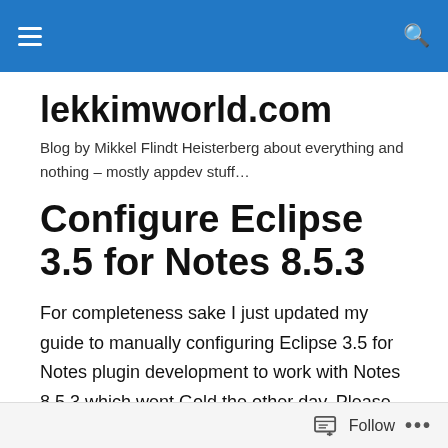lekkimworld.com — navigation bar
lekkimworld.com
Blog by Mikkel Flindt Heisterberg about everything and nothing – mostly appdev stuff…
Configure Eclipse 3.5 for Notes 8.5.3
For completeness sake I just updated my guide to manually configuring Eclipse 3.5 for Notes plugin development to work with Notes 8.5.3 which went Gold the other day. Please find a like to the guide below.
Follow …